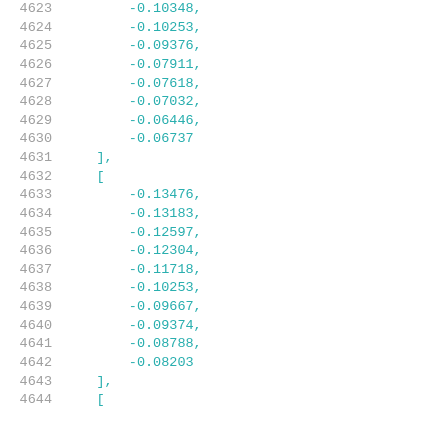Code listing lines 4623-4644 showing numerical array data with line numbers in gray and values in teal/cyan monospace font.